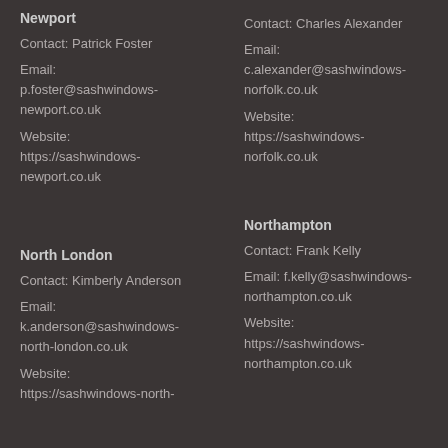Newport
Contact: Patrick Foster

Email:
p.foster@sashwindows-newport.co.uk

Website:
https://sashwindows-newport.co.uk
Contact: Charles Alexander

Email:
c.alexander@sashwindows-norfolk.co.uk

Website:
https://sashwindows-norfolk.co.uk
North London
Contact: Kimberly Anderson

Email:
k.anderson@sashwindows-north-london.co.uk

Website:
https://sashwindows-north-
Northampton
Contact: Frank Kelly

Email: f.kelly@sashwindows-northampton.co.uk

Website:
https://sashwindows-northampton.co.uk